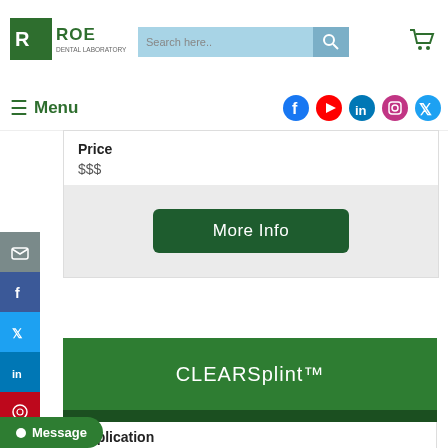ROE - header with logo, search bar, cart, menu and social icons
Price
$$$
More Info
CLEARSplint™
Application
Message